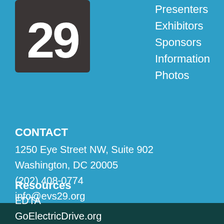[Figure (logo): EVS 29 logo — white '29' on dark charcoal/black square background with rounded corners, top-left of page]
Presenters
Exhibitors
Sponsors
Information
Photos
CONTACT
1250 Eye Street NW, Suite 902
Washington, DC 20005
(202) 408-0774
info@evs29.org
Resources
EDTA
GoElectricDrive.org